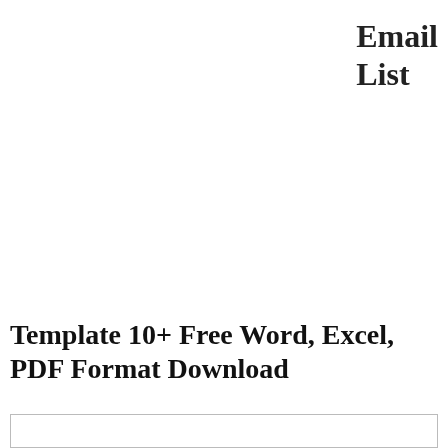Email List
Template 10+ Free Word, Excel, PDF Format Download